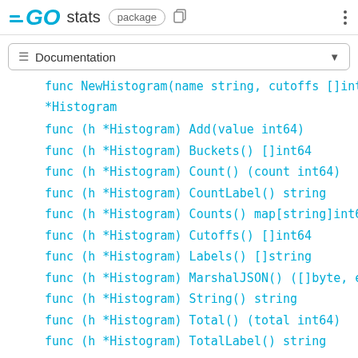GO stats package
≡ Documentation
func NewHistogram(name string, cutoffs []int64) *Histogram
func (h *Histogram) Add(value int64)
func (h *Histogram) Buckets() []int64
func (h *Histogram) Count() (count int64)
func (h *Histogram) CountLabel() string
func (h *Histogram) Counts() map[string]int64
func (h *Histogram) Cutoffs() []int64
func (h *Histogram) Labels() []string
func (h *Histogram) MarshalJSON() ([]byte, error)
func (h *Histogram) String() string
func (h *Histogram) Total() (total int64)
func (h *Histogram) TotalLabel() string
type Int
func NewInt(name string) *Int